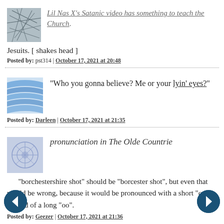[Figure (photo): Small square avatar image with abstract dark pattern on gray background]
Lil Nas X's Satanic video has something to teach the Church.
Jesuits. [ shakes head ]
Posted by: pst314 | October 17, 2021 at 20:48
[Figure (photo): Small square avatar with blue wave/stripe pattern]
"Who you gonna believe? Me or your lyin' eyes?"
Posted by: Darleen | October 17, 2021 at 21:35
[Figure (photo): Small square avatar with geometric snowflake/mandala pattern in blue-gray]
pronunciation in The Olde Countrie
"borchestershire shot" should be "borcester shot", but even that would be wrong, because it would be pronounced with a short "oo" instead of a long "oo".
Posted by: Geezer | October 17, 2021 at 21:36